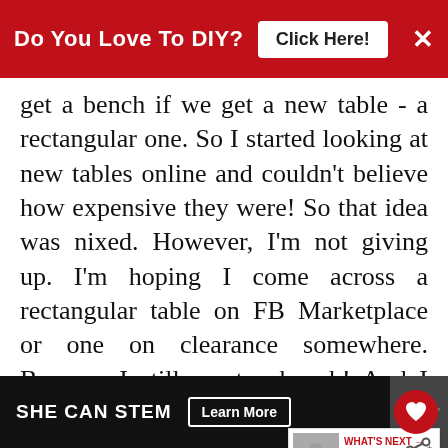Do You Love To DIY? Click Here! ×
get a bench if we get a new table - a rectangular one. So I started looking at new tables online and couldn't believe how expensive they were! So that idea was nixed. However, I'm not giving up. I'm hoping I come across a rectangular table on FB Marketplace or one on clearance somewhere. Because I still want a bench! And I want one with a back because anyone we have over is going to be "older" and need back support.
SHE CAN STEM  Learn More